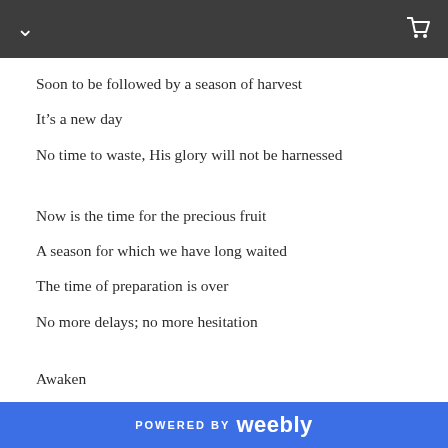Soon to be followed by a season of harvest
It’s a new day
No time to waste, His glory will not be harnessed
Now is the time for the precious fruit
A season for which we have long waited
The time of preparation is over
No more delays; no more hesitation
Awaken
SHARE
0 COMMENTS
POWERED BY weebly